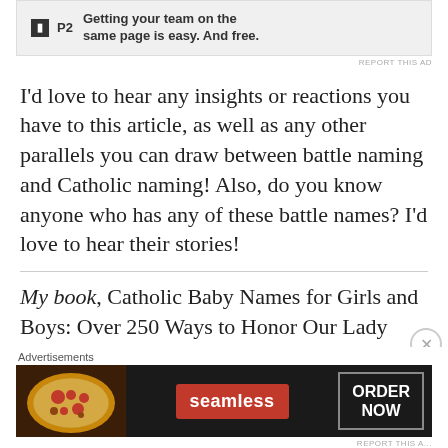[Figure (other): P2 advertisement banner: icon with 'P2' label and text 'Getting your team on the same page is easy. And free.']
REPORT THIS AD
I'd love to hear any insights or reactions you have to this article, as well as any other parallels you can draw between battle naming and Catholic naming! Also, do you know anyone who has any of these battle names? I'd love to hear their stories!
My book, Catholic Baby Names for Girls and Boys: Over 250 Ways to Honor Our Lady (Marian Press, 2018), is available to order
Advertisements
[Figure (other): Seamless food delivery advertisement showing pizza image, Seamless logo in red, and ORDER NOW button in white text on dark background.]